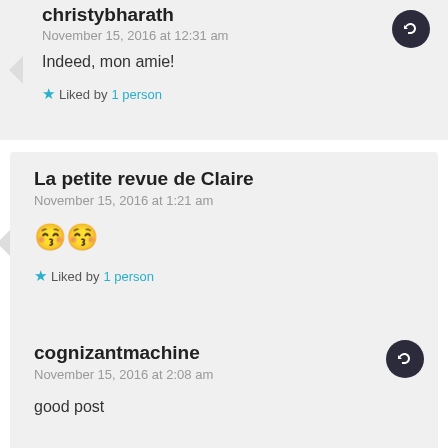christybharath
November 15, 2016 at 12:31 am
Indeed, mon amie!
★ Liked by 1 person
La petite revue de Claire
November 15, 2016 at 1:21 am
😚😚
★ Liked by 1 person
cognizantmachine
November 15, 2016 at 2:08 am
good post